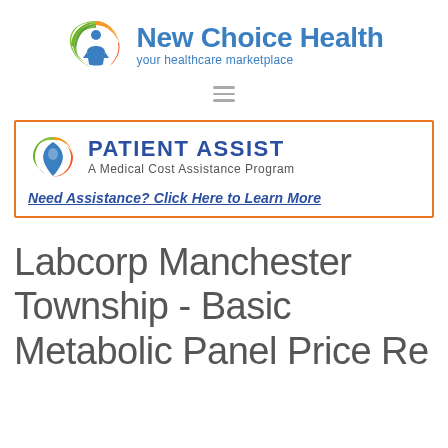[Figure (logo): New Choice Health logo with tagline 'your healthcare marketplace']
[Figure (other): Hamburger menu icon (three horizontal lines)]
[Figure (other): Patient Assist advertisement banner - A Medical Cost Assistance Program with link 'Need Assistance? Click Here to Learn More']
Labcorp Manchester Township - Basic Metabolic Panel Price Re...